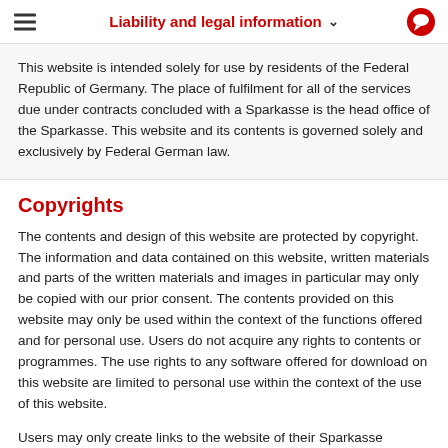Liability and legal information
This website is intended solely for use by residents of the Federal Republic of Germany. The place of fulfilment for all of the services due under contracts concluded with a Sparkasse is the head office of the Sparkasse. This website and its contents is governed solely and exclusively by Federal German law.
Copyrights
The contents and design of this website are protected by copyright. The information and data contained on this website, written materials and parts of the written materials and images in particular may only be copied with our prior consent. The contents provided on this website may only be used within the context of the functions offered and for personal use. Users do not acquire any rights to contents or programmes. The use rights to any software offered for download on this website are limited to personal use within the context of the use of this website.
Users may only create links to the website of their Sparkasse